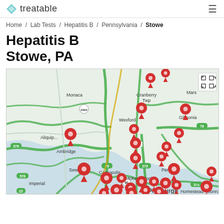treatable
Home / Lab Tests / Hepatitis B / Pennsylvania / Stowe
Hepatitis B Stowe, PA
[Figure (map): Google Maps view centered on the Pittsburgh/North Pittsburgh PA area showing Stowe, PA and surrounding communities (Monaca, Cranberry Twp, Mars, Wexford, Gibsonia, Aliquippa, Ambridge, Sewickley, Coraopolis, McKees Rock, Pittsburgh, Homestead, Imperial, Penn Hills, Monroe). Multiple red location pin markers are placed throughout the map indicating Hepatitis B testing lab locations. Green highlighted roads show major highways (376, 79, 279, 19, 76, 22, 60, 2004, etc.).]